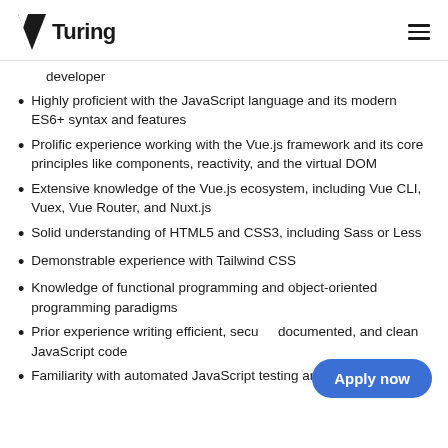Turing
developer
Highly proficient with the JavaScript language and its modern ES6+ syntax and features
Prolific experience working with the Vue.js framework and its core principles like components, reactivity, and the virtual DOM
Extensive knowledge of the Vue.js ecosystem, including Vue CLI, Vuex, Vue Router, and Nuxt.js
Solid understanding of HTML5 and CSS3, including Sass or Less
Demonstrable experience with Tailwind CSS
Knowledge of functional programming and object-oriented programming paradigms
Prior experience writing efficient, secure, documented, and clean JavaScript code
Familiarity with automated JavaScript testing and